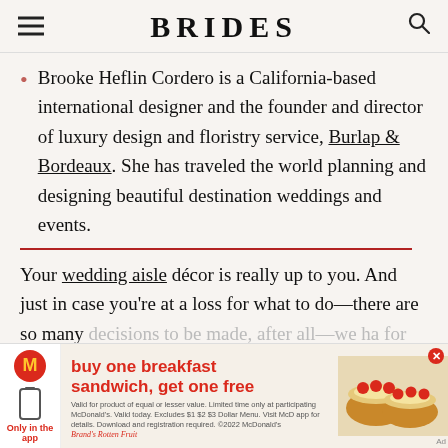BRIDES
Brooke Heflin Cordero is a California-based international designer and the founder and director of luxury design and floristry service, Burlap & Bordeaux. She has traveled the world planning and designing beautiful destination weddings and events.
Your wedding aisle décor is really up to you. And just in case you're at a loss for what to do—there are so many decisions to be made, after all—we ha... for you.
[Figure (other): McDonald's advertisement overlay: buy one breakfast sandwich, get one free. Only in the app.]